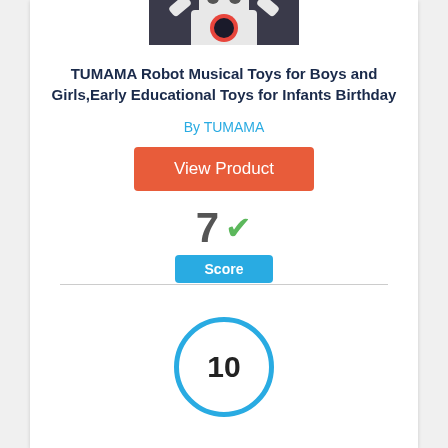[Figure (photo): Photo of a white toy robot with colorful buttons and raised arms]
TUMAMA Robot Musical Toys for Boys and Girls,Early Educational Toys for Infants Birthday
By TUMAMA
View Product
7✓
Score
10